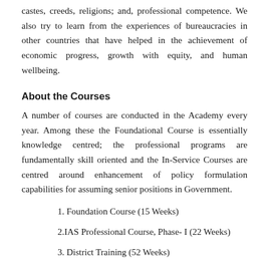castes, creeds, religions; and, professional competence. We also try to learn from the experiences of bureaucracies in other countries that have helped in the achievement of economic progress, growth with equity, and human wellbeing.
About the Courses
A number of courses are conducted in the Academy every year. Among these the Foundational Course is essentially knowledge centred; the professional programs are fundamentally skill oriented and the In-Service Courses are centred around enhancement of policy formulation capabilities for assuming senior positions in Government.
1. Foundation Course (15 Weeks)
2.IAS Professional Course, Phase- I (22 Weeks)
3. District Training (52 Weeks)